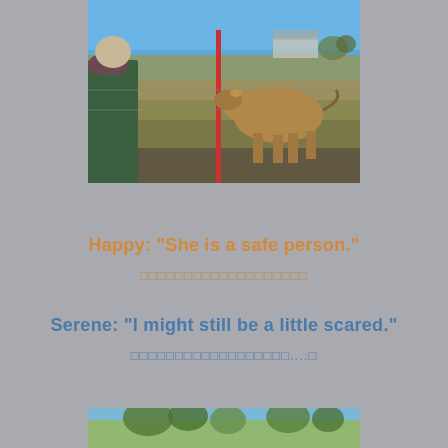[Figure (photo): An elderly person in a green jacket standing in a field, facing a brown cow near a red pole fence, with a blue sky and farm buildings in the background.]
Happy: "She is a safe person."
□□□□□□□□□□□□□□□□□□□
Serene: "I might still be a little scared."
□□□□□□□□□□□□□□□□□□....□
[Figure (photo): Partial image of trees and blue sky at the bottom of the page.]